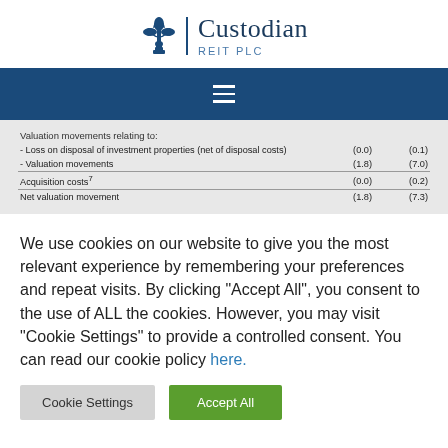[Figure (logo): Custodian REIT PLC logo with fleur-de-lis icon]
|  |  |  |
| --- | --- | --- |
| Valuation movements relating to: |  |  |
| - Loss on disposal of investment properties (net of disposal costs) | (0.0) | (0.1) |
| - Valuation movements | (1.8) | (7.0) |
| Acquisition costs⁷ | (0.0) | (0.2) |
| Net valuation movement | (1.8) | (7.3) |
We use cookies on our website to give you the most relevant experience by remembering your preferences and repeat visits. By clicking “Accept All”, you consent to the use of ALL the cookies. However, you may visit "Cookie Settings" to provide a controlled consent. You can read our cookie policy here.